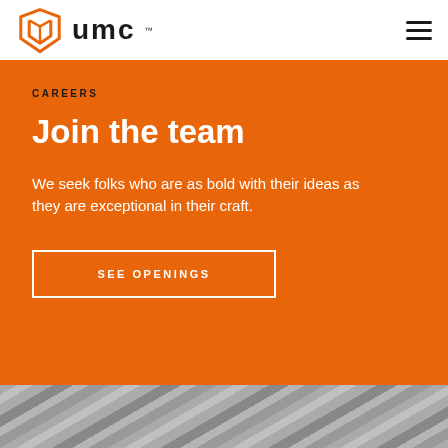UMC logo and navigation
CAREERS
Join the team
We seek folks who are as bold with their ideas as they are exceptional in their craft.
SEE OPENINGS
[Figure (photo): Black and white industrial interior photo showing pipes and mechanical systems on a ceiling, with an orange color overlay at the top.]